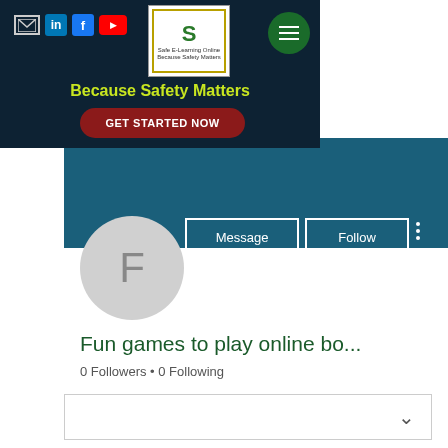[Figure (screenshot): Website header banner with dark navy background showing social media icons (envelope, LinkedIn, Facebook, YouTube), a centered logo with decorative border, green hamburger menu button, yellow-green tagline 'Because Safety Matters', and a dark red rounded 'GET STARTED NOW' button]
Because Safety Matters
GET STARTED NOW
[Figure (screenshot): Teal/dark blue profile banner section with Message and Follow buttons, three-dot menu, and a circular avatar placeholder showing letter F]
Fun games to play online bo...
0 Followers • 0 Following